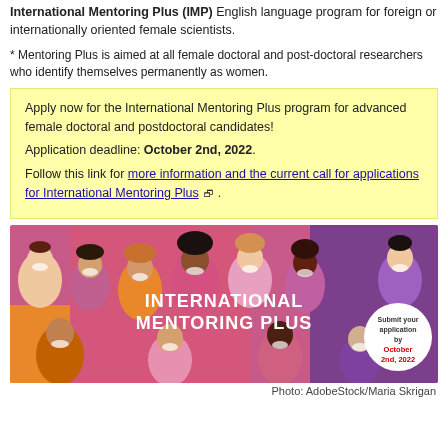International Mentoring Plus (IMP) English language program for foreign or internationally oriented female scientists.
* Mentoring Plus is aimed at all female doctoral and post-doctoral researchers who identify themselves permanently as women.
Apply now for the International Mentoring Plus program for advanced female doctoral and postdoctoral candidates!
Application deadline: October 2nd, 2022.
Follow this link for more information and the current call for applications for International Mentoring Plus.
[Figure (illustration): Colorful illustrated banner showing diverse women of various ethnicities with text 'INTERNATIONAL MENTORING PLUS' and a circle reading 'Submit your application by October 2nd, 2022']
Photo: AdobeStock/Maria Skrigan